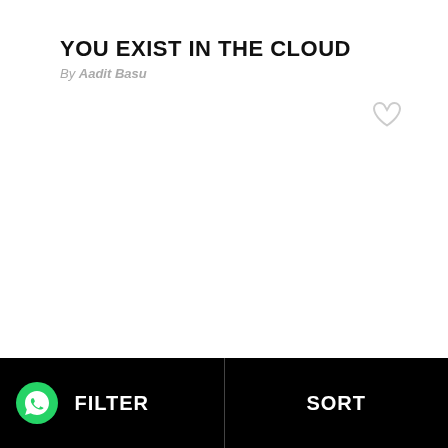YOU EXIST IN THE CLOUD
By Aadit Basu
[Figure (illustration): Heart/like icon outline in light gray, positioned in upper right area of white content section]
[Figure (illustration): WhatsApp logo icon — green circle with white speech bubble phone icon]
FILTER
SORT